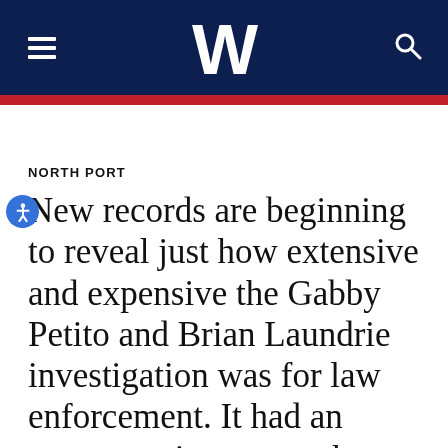W
NORTH PORT
New records are beginning to reveal just how extensive and expensive the Gabby Petito and Brian Laundrie investigation was for law enforcement. It had an enormous impact on the North Port Police budget.